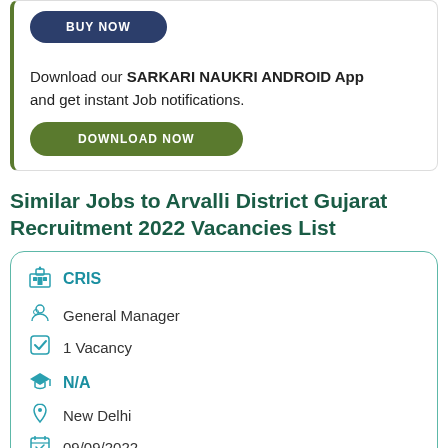[Figure (screenshot): Top section showing a BUY NOW button and a download prompt for SARKARI NAUKRI ANDROID App with a DOWNLOAD NOW button]
Download our SARKARI NAUKRI ANDROID App and get instant Job notifications.
Similar Jobs to Arvalli District Gujarat Recruitment 2022 Vacancies List
CRIS
General Manager
1 Vacancy
N/A
New Delhi
09/09/2022